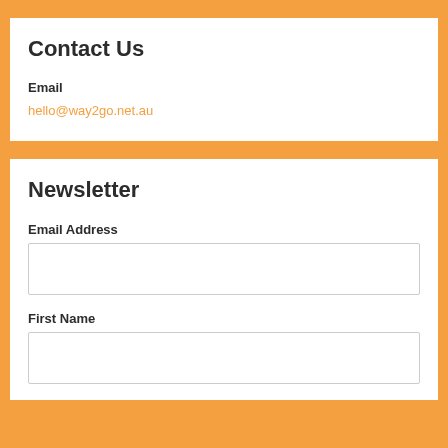Contact Us
Email
hello@way2go.net.au
Newsletter
Email Address
First Name